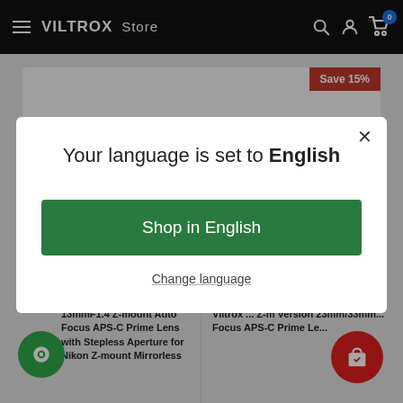VILTROX Store
[Figure (screenshot): Viltrox online store webpage with a modal dialog overlay. The navbar shows VILTROX Store branding with search, account, and cart icons. A modal dialog reads 'Your language is set to English' with a green 'Shop in English' button and a 'Change language' link. Background shows product cards with a 'Save 15%' badge. Bottom shows product listings including '13mmF1.4 Z-mount Auto Focus APS-C Prime Lens with Stepless Aperture for Nikon Z-mount Mirrorless' and 'Viltrox ... Z-m... Version 23mm/33mm... Focus APS-C Prime Le...']
Your language is set to English
Shop in English
Change language